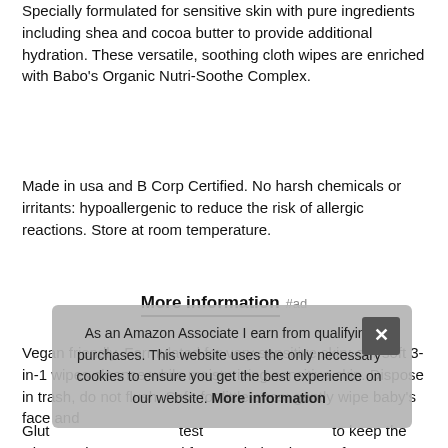Specially formulated for sensitive skin with pure ingredients including shea and cocoa butter to provide additional hydration. These versatile, soothing cloth wipes are enriched with Babo's Organic Nutri-Soothe Complex.
Made in usa and B Corp Certified. No harsh chemicals or irritants: hypoallergenic to reduce the risk of allergic reactions. Store at room temperature.
More information #ad
Vegan friendly. Formulated for very sensitive skin: our soft 3-in-1 wipes cleanse while moisturizing sensitive skin. Dispose in trash, do not flush. Safe for little ones: gently wipe baby's face and
Glut... test... to keep the wipes moist. 100% good for your baby: these soft,
As an Amazon Associate I earn from qualifying purchases. This website uses the only necessary cookies to ensure you get the best experience on our website. More information